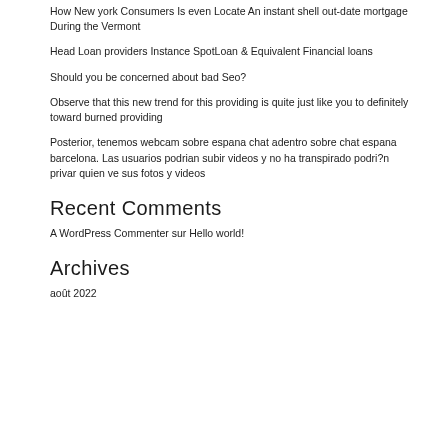How New york Consumers Is even Locate An instant shell out-date mortgage During the Vermont
Head Loan providers Instance SpotLoan & Equivalent Financial loans
Should you be concerned about bad Seo?
Observe that this new trend for this providing is quite just like you to definitely toward burned providing
Posterior, tenemos webcam sobre espana chat adentro sobre chat espana barcelona. Las usuarios podrian subir videos y no ha transpirado podri?n privar quien ve sus fotos y videos
Recent Comments
A WordPress Commenter sur Hello world!
Archives
août 2022